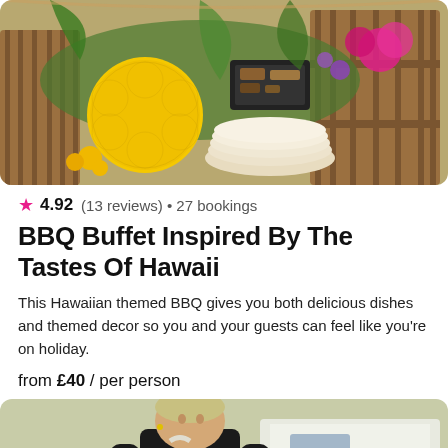[Figure (photo): Hawaiian BBQ buffet table with yellow honeycomb decoration, tropical flowers, plates, and wooden crate]
★ 4.92 (13 reviews) • 27 bookings
BBQ Buffet Inspired By The Tastes Of Hawaii
This Hawaiian themed BBQ gives you both delicious dishes and themed decor so you and your guests can feel like you're on holiday.
from £40 / per person
[Figure (photo): Chef in black t-shirt and striped apron working at an outdoor catering event with white tablecloths]